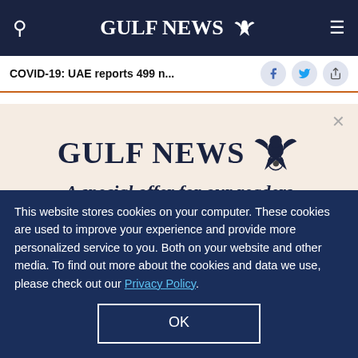GULF NEWS
COVID-19: UAE reports 499 n...
COVID-19: UAE reports 499
[Figure (other): Gulf News subscription modal popup with logo and text: 'A special offer for our readers. Get the two years All-Access subscription now']
This website stores cookies on your computer. These cookies are used to improve your experience and provide more personalized service to you. Both on your website and other media. To find out more about the cookies and data we use, please check out our Privacy Policy.